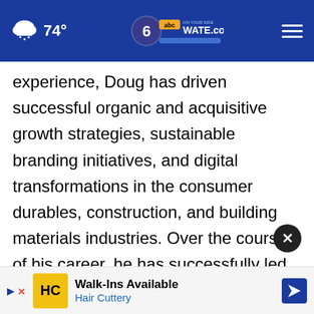74° WATE.com
experience, Doug has driven successful organic and acquisitive growth strategies, sustainable branding initiatives, and digital transformations in the consumer durables, construction, and building materials industries. Over the course of his career, he has successfully led mature businesses, (Tremco CPG, Glen-Gery, and Armstrong Canada), along with profitable start-ups (Pergo, and Noel Group) and acquisitive growth ventures (Tremco, Ply Gem/Mitten Build...as
[Figure (screenshot): Advertisement banner for Hair Cuttery Walk-Ins Available with HC logo and navigation icon]